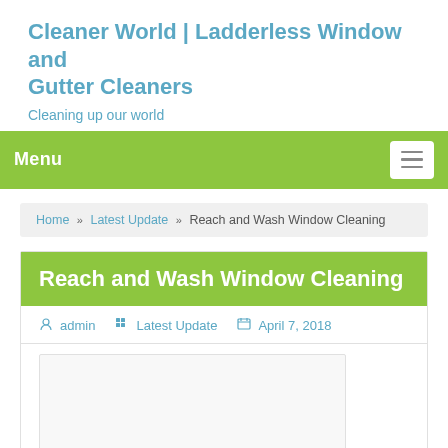Cleaner World | Ladderless Window and Gutter Cleaners
Cleaning up our world
Menu
Home » Latest Update » Reach and Wash Window Cleaning
Reach and Wash Window Cleaning
admin   Latest Update   April 7, 2018
[Figure (photo): Image placeholder area for Reach and Wash Window Cleaning article]